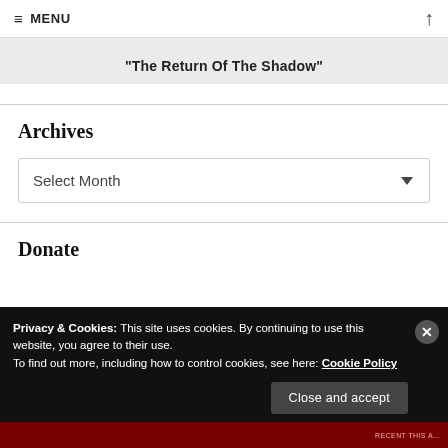≡ MENU ↑
"The Return Of The Shadow"
Archives
Select Month
Donate
Privacy & Cookies: This site uses cookies. By continuing to use this website, you agree to their use. To find out more, including how to control cookies, see here: Cookie Policy
Close and accept